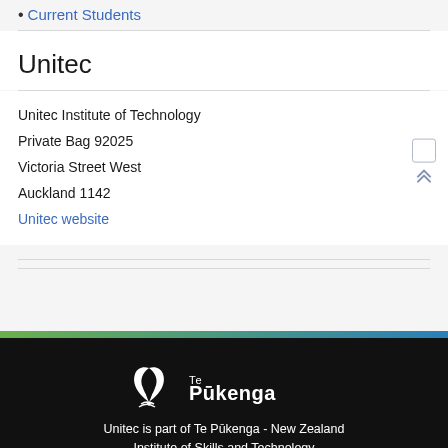Current Students
Unitec
Unitec Institute of Technology
Private Bag 92025
Victoria Street West
Auckland 1142
Unitec website
[Figure (logo): Te Pukenga logo with stylized white feather/koru icon and 'Te Pukenga' text in white on black background]
Unitec is part of Te Pukenga - New Zealand Institute of Skills and Technology